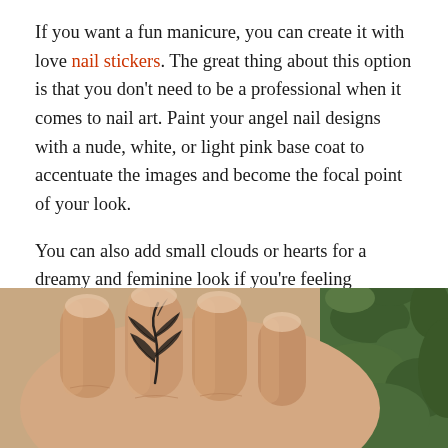If you want a fun manicure, you can create it with love nail stickers. The great thing about this option is that you don't need to be a professional when it comes to nail art. Paint your angel nail designs with a nude, white, or light pink base coat to accentuate the images and become the focal point of your look.
You can also add small clouds or hearts for a dreamy and feminine look if you're feeling particularly creative. Angels are associated with innocence, goodness, and hope, but cupid is also associated with love and luck. Let your manicure tell your loved ones how you feel about them, or let it bring a smile to your face because of its sweetness.
[Figure (photo): Close-up photo of a hand with fingers spread, showing a tattoo of leaves/botanical design on a finger, with green foliage visible in the background.]